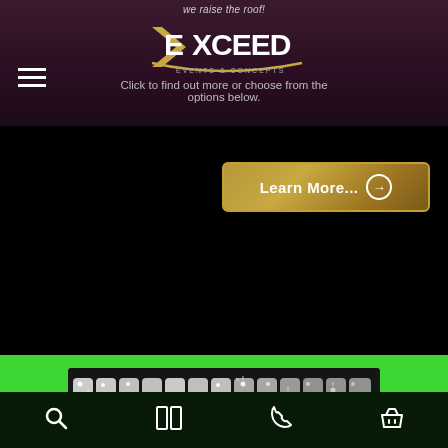we raise the roof! EXCEED EVENTS & CONCEPTS — Click to find out more or choose from the options below.
Learn More...
[Figure (photo): Large illuminated 3D letters spelling a word, lit with blue and green LED lights in a dark event venue space. The marquee-style letters are white with bulb lights embedded, displayed against a wall with colorful uplighting.]
Search | Menu | Phone | Basket navigation icons